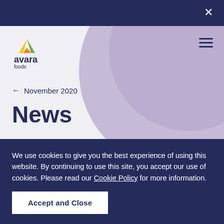Avara Foods – navigation bar with close button
[Figure (logo): Avara Foods logo with yellow/green/orange 'A' mark and dark blue 'avara foods' wordmark]
← November 2020
News
Avara colleague wins
We use cookies to give you the best experience of using this website. By continuing to use this site, you accept our use of cookies. Please read our Cookie Policy for more information.
Accept and Close